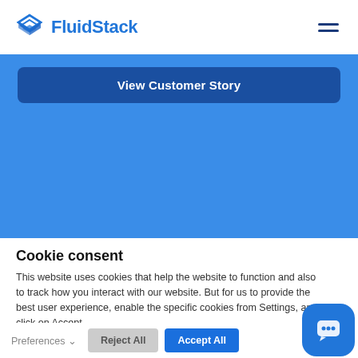FluidStack
View Customer Story
Cookie consent
This website uses cookies that help the website to function and also to track how you interact with our website. But for us to provide the best user experience, enable the specific cookies from Settings, and click on Accept.
Preferences  Reject All  Accept All